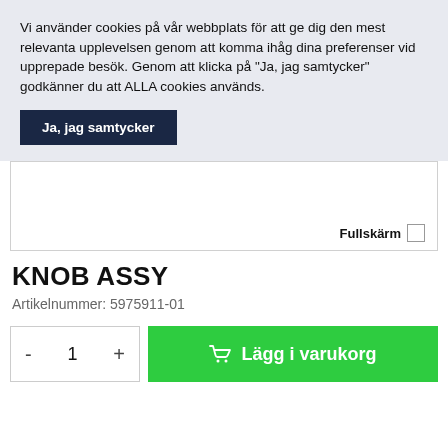Vi använder cookies på vår webbplats för att ge dig den mest relevanta upplevelsen genom att komma ihåg dina preferenser vid upprepade besök. Genom att klicka på "Ja, jag samtycker" godkänner du att ALLA cookies används.
Ja, jag samtycker
[Figure (other): Product image area with Fullskärm (fullscreen) button in bottom right corner]
KNOB ASSY
Artikelnummer: 5975911-01
- 1 + Lägg i varukorg